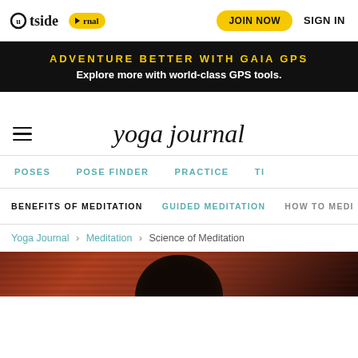Outside Journal | JOIN NOW | SIGN IN
ADVENTURE BETTER WITH GAIA GPS
Explore more with world-class GPS tools.
yoga journal
POSES  POSE FINDER  PRACTICE  TI
BENEFITS OF MEDITATION  GUIDED MEDITATION  HOW TO MEDI
Yoga Journal > Meditation > Science of Meditation
[Figure (photo): Bottom portion of a person's head with dark hair against a decorative reddish-brown patterned background, cropped at top of frame]